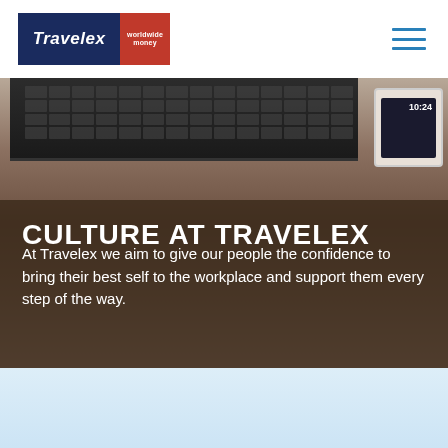[Figure (logo): Travelex worldwide money logo — navy rectangle with italic white 'Travelex' text on the left, red rectangle with 'worldwide money' text on the right]
[Figure (photo): Hero photograph of a laptop keyboard and cables on a wooden desk, with a smartphone visible in the top right. The lower portion has a dark semi-transparent brown overlay.]
CULTURE AT TRAVELEX
At Travelex we aim to give our people the confidence to bring their best self to the workplace and support them every step of the way.